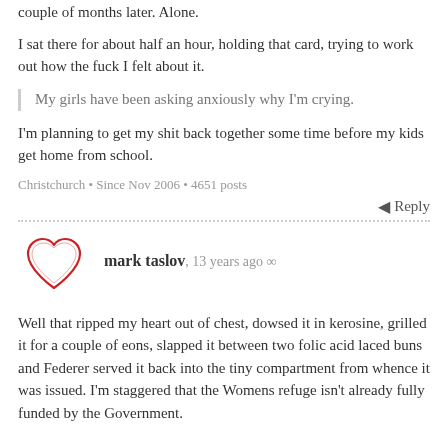couple of months later. Alone.
I sat there for about half an hour, holding that card, trying to work out how the fuck I felt about it.
My girls have been asking anxiously why I'm crying.
I'm planning to get my shit back together some time before my kids get home from school.
Christchurch • Since Nov 2006 • 4651 posts
Reply
mark taslov, 13 years ago ∞
Well that ripped my heart out of chest, dowsed it in kerosine, grilled it for a couple of eons, slapped it between two folic acid laced buns and Federer served it back into the tiny compartment from whence it was issued. I'm staggered that the Womens refuge isn't already fully funded by the Government.